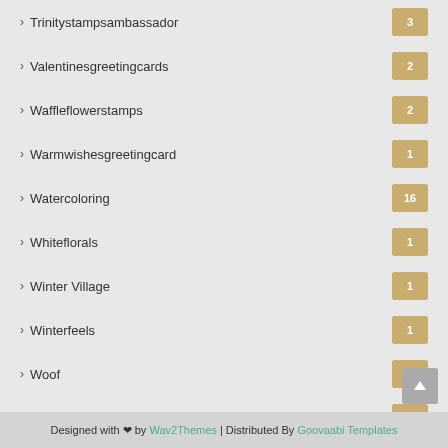Trinitystampsambassador 3
Valentinesgreetingcards 2
Waffleflowerstamps 2
Warmwishesgreetingcard 1
Watercoloring 16
Whiteflorals 1
Winter Village 1
Winterfeels 1
Woof 1
Worddies 1
CONTACT US
Email ID: dngfinearts@gmail.com
Designed with ❤ by Wav2Themes | Distributed By Goovaabi Templates